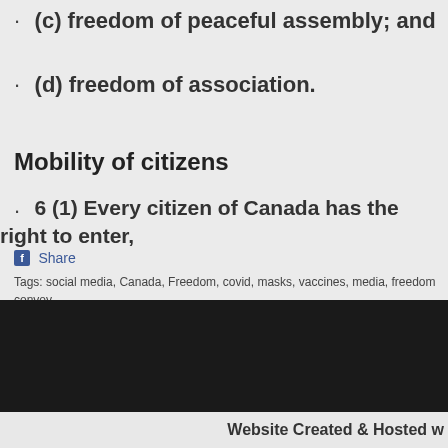· (c) freedom of peaceful assembly; and
· (d) freedom of association.
Mobility of citizens
· 6 (1) Every citizen of Canada has the right to enter,
Share
Tags: social media, Canada, Freedom, covid, masks, vaccines, media, freedom convoy, Comments (0)
Website Created & Hosted w